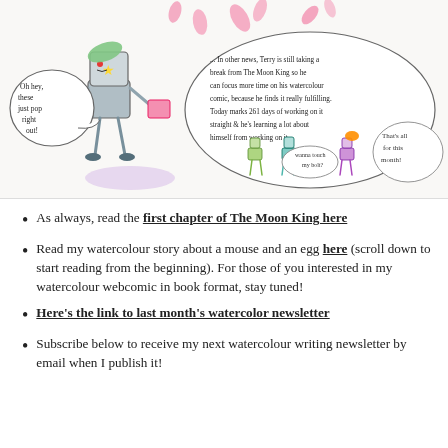[Figure (illustration): Hand-drawn watercolour comic illustration featuring quirky box-headed characters. On the left, a character says 'Oh hey, these just pop right out!' On the right, a speech bubble reads '... In other news, Terry is still taking a break from The Moon King so he can focus more time on his watercolour comic, because he finds it really fulfilling. Today marks 261 days of working on it straight & he's learning a lot about himself from working on it.' Smaller characters at lower right, one says 'wanna touch my bolt?' and another says 'That's all for this month!']
As always, read the first chapter of The Moon King here
Read my watercolour story about a mouse and an egg here (scroll down to start reading from the beginning). For those of you interested in my watercolour webcomic in book format, stay tuned!
Here's the link to last month's watercolor newsletter
Subscribe below to receive my next watercolour writing newsletter by email when I publish it!